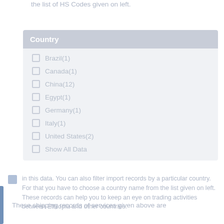the list of HS Codes given on left.
Country
Brazil(1)
Canada(1)
China(12)
Egypt(1)
Germany(1)
Italy(1)
United States(2)
Show All Data
in this data. You can also filter import records by a particular country. For that you have to choose a country name from the list given on left. These records can help you to keep an eye on trading activities between Ethiopia and other countries.
These shipping records of services given above are